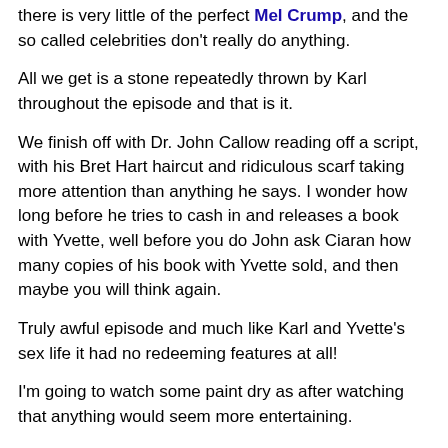there is very little of the perfect Mel Crump, and the so called celebrities don't really do anything.
All we get is a stone repeatedly thrown by Karl throughout the episode and that is it.
We finish off with Dr. John Callow reading off a script, with his Bret Hart haircut and ridiculous scarf taking more attention than anything he says. I wonder how long before he tries to cash in and releases a book with Yvette, well before you do John ask Ciaran how many copies of his book with Yvette sold, and then maybe you will think again.
Truly awful episode and much like Karl and Yvette's sex life it had no redeeming features at all!
I'm going to watch some paint dry as after watching that anything would seem more entertaining.
Review By Jon Donnis
Follow me on Twitter @JonDonnis